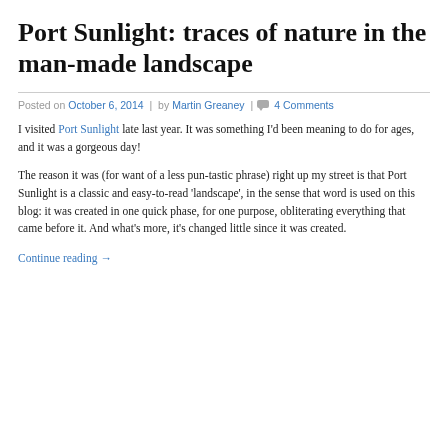Port Sunlight: traces of nature in the man-made landscape
Posted on October 6, 2014 | by Martin Greaney | 4 Comments
I visited Port Sunlight late last year. It was something I'd been meaning to do for ages, and it was a gorgeous day!
The reason it was (for want of a less pun-tastic phrase) right up my street is that Port Sunlight is a classic and easy-to-read 'landscape', in the sense that word is used on this blog: it was created in one quick phase, for one purpose, obliterating everything that came before it. And what's more, it's changed little since it was created.
Continue reading →